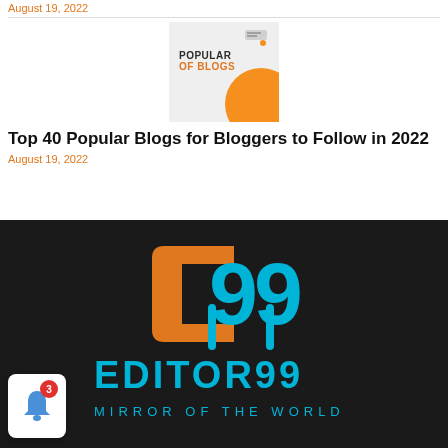August 19, 2022
[Figure (illustration): Thumbnail image showing 'POPULAR OF BLOGS' text with an orange circle graphic element on a grey background]
Top 40 Popular Blogs for Bloggers to Follow in 2022
August 19, 2022
[Figure (logo): Editor99 logo — cyan/orange '99' symbol above 'EDITOR99' text and 'MIRROR OF THE WORLD' tagline on dark background]